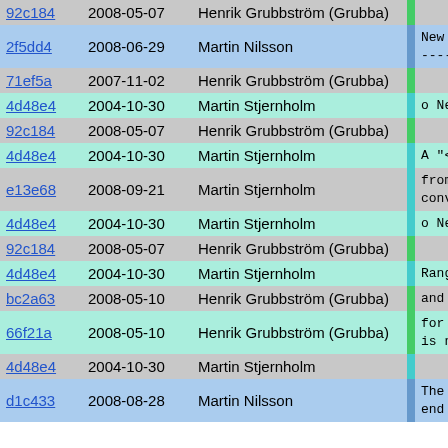| Hash | Date | Author | Message |
| --- | --- | --- | --- |
| 92c184 | 2008-05-07 | Henrik Grubbström (Grubba) |  |
| 2f5dd4 | 2008-06-29 | Martin Nilsson | New / improv
------------ |
| 71ef5a | 2007-11-02 | Henrik Grubbström (Grubba) |  |
| 4d48e4 | 2004-10-30 | Martin Stjernholm | o New syntax |
| 92c184 | 2008-05-07 | Henrik Grubbström (Grubba) |  |
| 4d48e4 | 2004-10-30 | Martin Stjernholm | A "<" can |
| e13e68 | 2008-09-21 | Martin Stjernholm | from the e
convenient |
| 4d48e4 | 2004-10-30 | Martin Stjernholm | o New `[..] |
| 92c184 | 2008-05-07 | Henrik Grubbström (Grubba) |  |
| 4d48e4 | 2004-10-30 | Martin Stjernholm | Range oper |
| bc2a63 | 2008-05-10 | Henrik Grubbström (Grubba) | and are no |
| 66f21a | 2008-05-10 | Henrik Grubbström (Grubba) | for how th
is no `[.. |
| 4d48e4 | 2004-10-30 | Martin Stjernholm |  |
| d1c433 | 2008-08-28 | Martin Nilsson | The `[..]
end value |